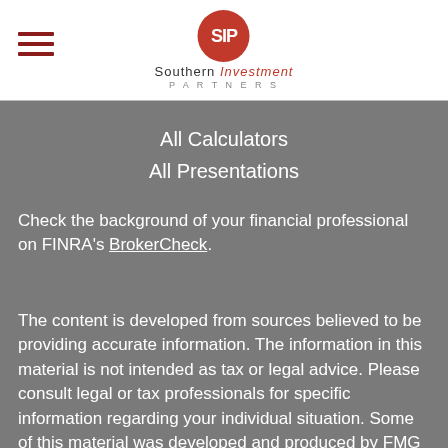[Figure (logo): Southern Investment Partners logo with red SIP circle and hamburger menu icon]
All Calculators
All Presentations
Check the background of your financial professional on FINRA's BrokerCheck.
The content is developed from sources believed to be providing accurate information. The information in this material is not intended as tax or legal advice. Please consult legal or tax professionals for specific information regarding your individual situation. Some of this material was developed and produced by FMG Suite to provide information on a topic that may be of interest. FMG Suite is not affiliated with the named representative, broker - dealer, state - or SEC - registered investment advisory firm. The opinions expressed and material provided are for general information, and should not be considered a